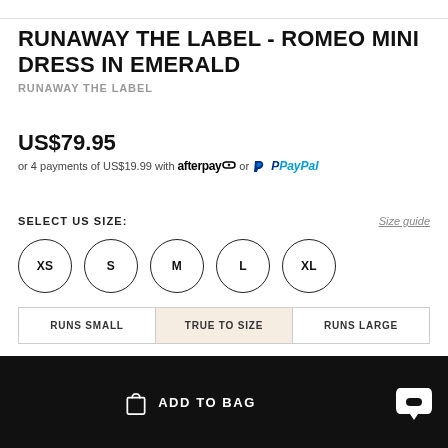RUNAWAY THE LABEL - ROMEO MINI DRESS IN EMERALD
RUNAWAY THE LABEL
US$79.95
or 4 payments of US$19.99 with afterpay or PayPal
SELECT US SIZE:
Size guide
XS S M L XL
RUNS SMALL | TRUE TO SIZE | RUNS LARGE
ADD TO BAG